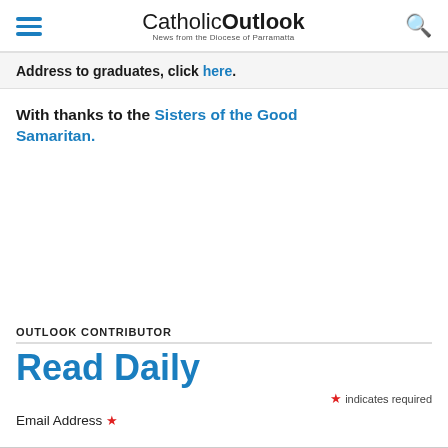CatholicOutlook — News from the Diocese of Parramatta
Address to graduates, click here.
With thanks to the Sisters of the Good Samaritan.
OUTLOOK CONTRIBUTOR
Read Daily
* indicates required
Email Address *